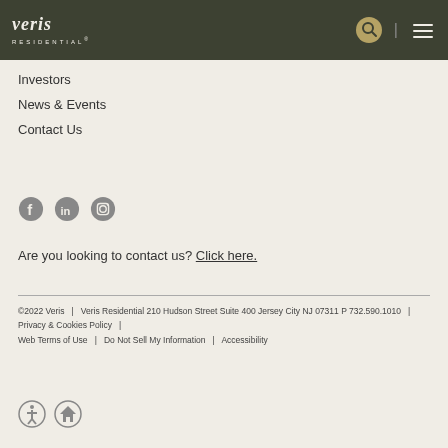Veris Residential
Investors
News & Events
Contact Us
[Figure (other): Social media icons: Facebook, LinkedIn, Instagram]
Are you looking to contact us? Click here.
©2022 Veris | Veris Residential 210 Hudson Street Suite 400 Jersey City NJ 07311 P 732.590.1010 | Privacy & Cookies Policy | Web Terms of Use | Do Not Sell My Information | Accessibility
[Figure (other): ADA accessibility icon and equal housing opportunity icon]